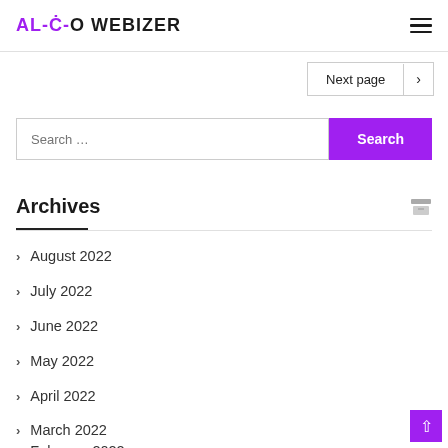AL-C-O WEBIZER
Next page
Search ...
Archives
August 2022
July 2022
June 2022
May 2022
April 2022
March 2022
February 2022